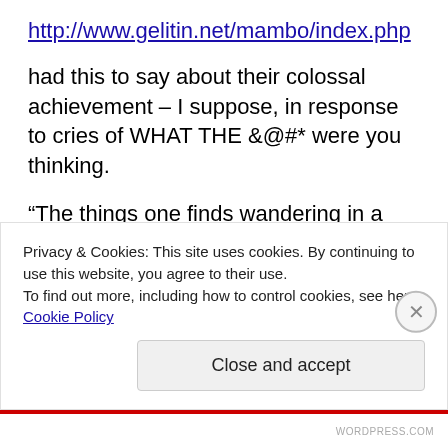http://www.gelitin.net/mambo/index.php
had this to say about their colossal achievement – I suppose, in response to cries of WHAT THE &@#* were you thinking.
“The things one finds wandering in a landscape: familiar things and utterly unknown, like a flower one has never seen before, or, as Columbus discovered, an inexplicable continent;
and then, behind a hill, as if knitted by giant grandmothers, lies this vast rabbit, to make you feel as small as a daisy
Privacy & Cookies: This site uses cookies. By continuing to use this website, you agree to their use.
To find out more, including how to control cookies, see here: Cookie Policy
Close and accept